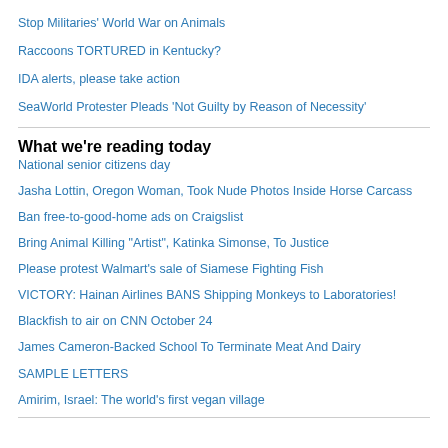Stop Militaries' World War on Animals
Raccoons TORTURED in Kentucky?
IDA alerts, please take action
SeaWorld Protester Pleads 'Not Guilty by Reason of Necessity'
What we're reading today
National senior citizens day
Jasha Lottin, Oregon Woman, Took Nude Photos Inside Horse Carcass
Ban free-to-good-home ads on Craigslist
Bring Animal Killing "Artist", Katinka Simonse, To Justice
Please protest Walmart's sale of Siamese Fighting Fish
VICTORY: Hainan Airlines BANS Shipping Monkeys to Laboratories!
Blackfish to air on CNN October 24
James Cameron-Backed School To Terminate Meat And Dairy
SAMPLE LETTERS
Amirim, Israel: The world's first vegan village